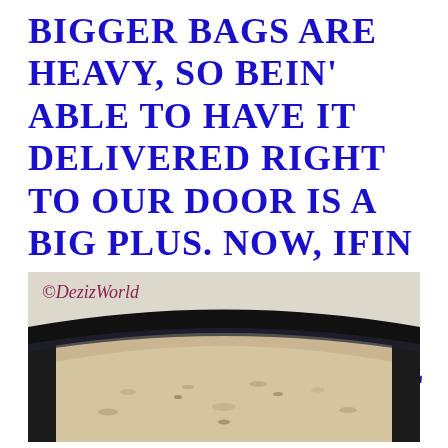BIGGER BAGS ARE HEAVY, SO BEIN' ABLE TO HAVE IT DELIVERED RIGHT TO OUR DOOR IS A BIG PLUS. NOW, IFIN WE COULD ONLY GET THE FEDEX MAN TO SCOOP. MOL
[Figure (photo): Close-up photo of a black litter box filled with tan/beige cat litter, viewed from above showing the rim and litter inside. Watermark reads ©DezizWorld in cursive.]